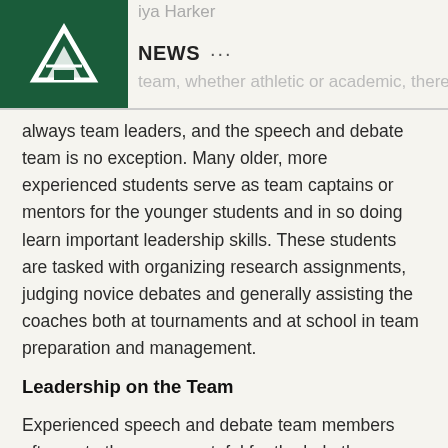NEWS ...
always team leaders, and the speech and debate team is no exception. Many older, more experienced students serve as team captains or mentors for the younger students and in so doing learn important leadership skills. These students are tasked with organizing research assignments, judging novice debates and generally assisting the coaches both at tournaments and at school in team preparation and management.
Leadership on the Team
Experienced speech and debate team members often note they were grateful for the help they received from varsity team membersand are eager to give back. They can also gain valuable skillsfrom mentoring. Nitya Mani, grade 12, a captain from the 2014-15 team, said teaching was one of the best ways to learn. The mentors have to learn how to explain concepts clearly and relate to